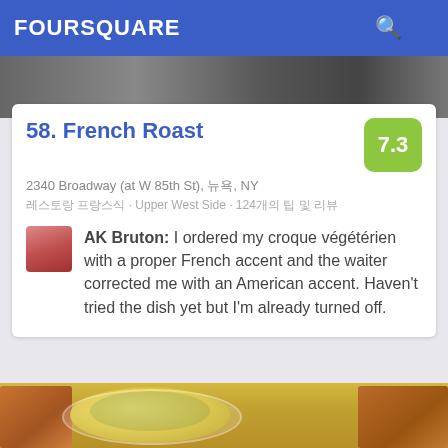FOURSQUARE
[Figure (photo): Top strip photo of restaurant interior]
58. French Roast
7.3
2340 Broadway (at W 85th St), 뉴욕, NY
레스토랑 프랑스식 · Upper West Side · 124개의 팁 및 리뷰
AK Bruton: I ordered my croque végétérien with a proper French accent and the waiter corrected me with an American accent. Haven't tried the dish yet but I'm already turned off.
[Figure (photo): Food photo showing baked egg dish with melted cheese and toast]